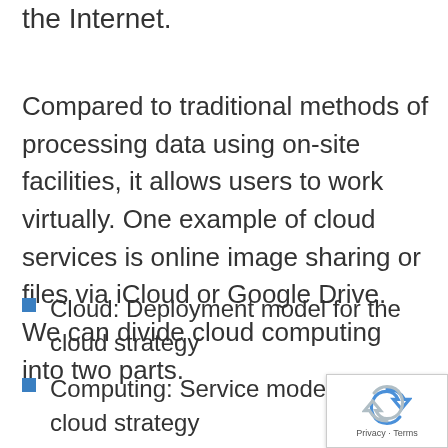the Internet.
Compared to traditional methods of processing data using on-site facilities, it allows users to work virtually. One example of cloud services is online image sharing or files via iCloud or Google Drive. We can divide cloud computing into two parts.
Cloud: Deployment model for the cloud strategy
Computing: Service model for the cloud strategy